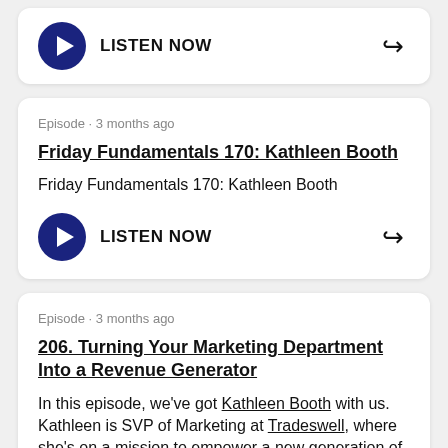[Figure (screenshot): Card with LISTEN NOW button and share icon]
Episode · 3 months ago
Friday Fundamentals 170: Kathleen Booth
Friday Fundamentals 170: Kathleen Booth
[Figure (screenshot): LISTEN NOW button with play icon and share icon]
Episode · 3 months ago
206. Turning Your Marketing Department Into a Revenue Generator
In this episode, we've got Kathleen Booth with us. Kathleen is SVP of Marketing at Tradeswell, where she's on a mission to empower a new generation of